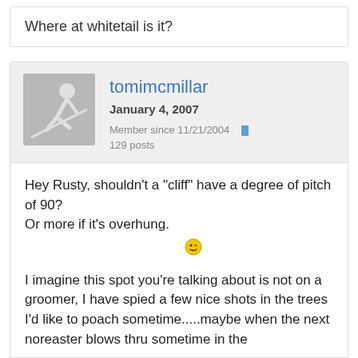Where at whitetail is it?
tomimcmillar
January 4, 2007
Member since 11/21/2004   129 posts
Hey Rusty, shouldn't a "cliff" have a degree of pitch of 90?
Or more if it's overhung.
I imagine this spot you're talking about is not on a groomer, I have spied a few nice shots in the trees I'd like to poach sometime.....maybe when the next noreaster blows thru sometime in the